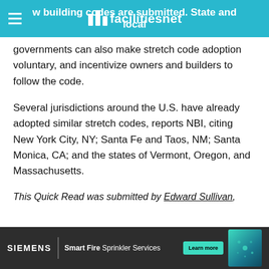new building codes are submitted. State and local — facilitiesnet
governments can also make stretch code adoption voluntary, and incentivize owners and builders to follow the code.
Several jurisdictions around the U.S. have already adopted similar stretch codes, reports NBI, citing New York City, NY; Santa Fe and Taos, NM; Santa Monica, CA; and the states of Vermont, Oregon, and Massachusetts.
This Quick Read was submitted by Edward Sullivan,
[Figure (other): Siemens Smart Fire Sprinkler Services advertisement banner with Learn more button]